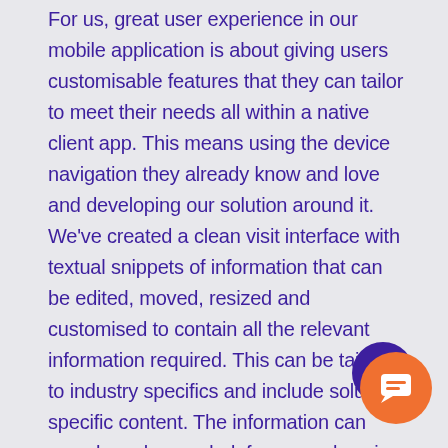For us, great user experience in our mobile application is about giving users customisable features that they can tailor to meet their needs all within a native client app. This means using the device navigation they already know and love and developing our solution around it. We've created a clean visit interface with textual snippets of information that can be edited, moved, resized and customised to contain all the relevant information required. This can be tailored to industry specifics and include solution specific content. The information can even be colour coded, for example using a red-light system.

Our UX provides mobile workers with a visual experience, rather than excessive text-based
[Figure (other): Orange and dark purple circular chat/support button widget in the bottom-right corner]